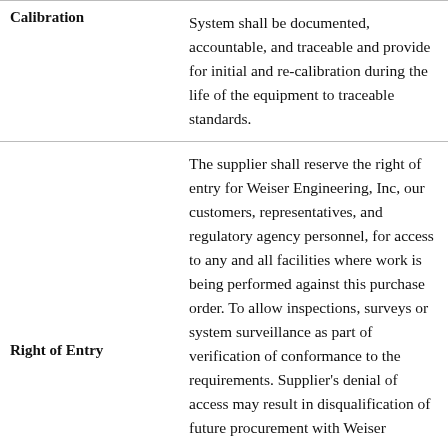| Term | Description |
| --- | --- |
| Calibration | System shall be documented, accountable, and traceable and provide for initial and re-calibration during the life of the equipment to traceable standards. |
| Right of Entry | The supplier shall reserve the right of entry for Weiser Engineering, Inc, our customers, representatives, and regulatory agency personnel, for access to any and all facilities where work is being performed against this purchase order. To allow inspections, surveys or system surveillance as part of verification of conformance to the requirements. Supplier's denial of access may result in disqualification of future procurement with Weiser |